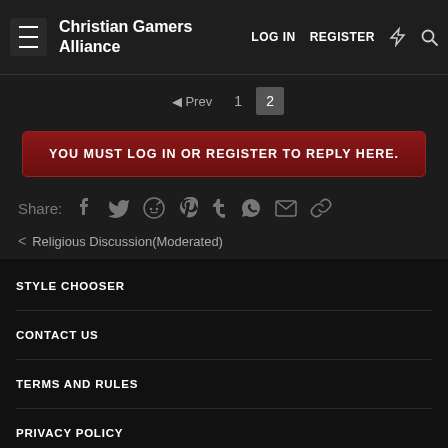Christian Gamers Alliance  LOG IN  REGISTER
◄ Prev  1  2
YOU MUST LOG IN OR REGISTER TO REPLY HERE.
Share: (social icons)
< Religious Discussion(Moderated)
STYLE CHOOSER
CONTACT US
TERMS AND RULES
PRIVACY POLICY